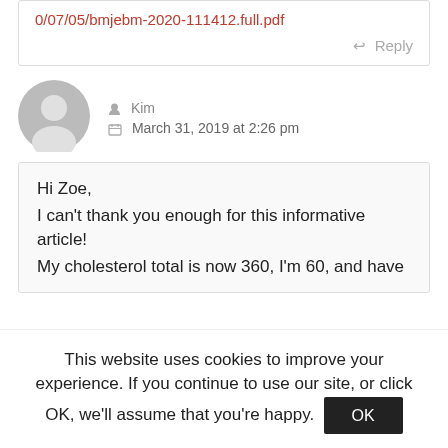0/07/05/bmjebm-2020-111412.full.pdf
Reply
Kim
March 31, 2019 at 2:26 pm
Hi Zoe,
I can't thank you enough for this informative article!
My cholesterol total is now 360, I'm 60, and have
This website uses cookies to improve your experience. If you continue to use our site, or click OK, we'll assume that you're happy.